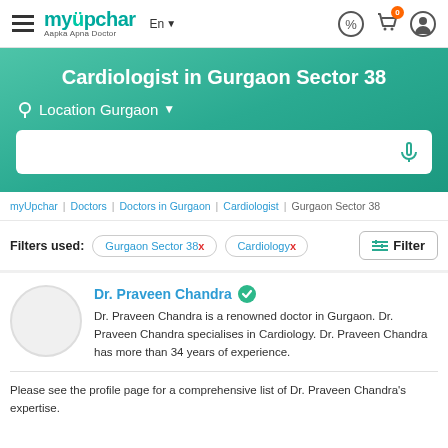myUpchar — Aapka Apna Doctor — En — header navigation
Cardiologist in Gurgaon Sector 38
Location Gurgaon
myUpchar | Doctors | Doctors in Gurgaon | Cardiologist | Gurgaon Sector 38
Filters used: Gurgaon Sector 38x  Cardiologyx  Filter
Dr. Praveen Chandra
Dr. Praveen Chandra is a renowned doctor in Gurgaon. Dr. Praveen Chandra specialises in Cardiology. Dr. Praveen Chandra has more than 34 years of experience.
Please see the profile page for a comprehensive list of Dr. Praveen Chandra's expertise.